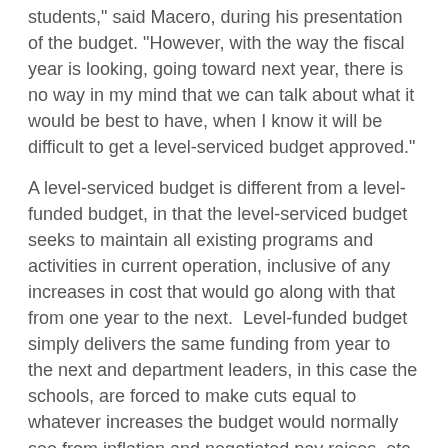students," said Macero, during his presentation of the budget. "However, with the way the fiscal year is looking, going toward next year, there is no way in my mind that we can talk about what it would be best to have, when I know it will be difficult to get a level-serviced budget approved."
A level-serviced budget is different from a level-funded budget, in that the level-serviced budget seeks to maintain all existing programs and activities in current operation, inclusive of any increases in cost that would go along with that from one year to the next.  Level-funded budget simply delivers the same funding from year to the next and department leaders, in this case the schools, are forced to make cuts equal to whatever increases the budget would normally see from inflation and negotiated pay raises, etc.
Macero used his presentation to explain to School Committee members and the public that he is hopeful that working together with the Town Council and town administration that the schools will be able to appropriate enough funding for the schools.